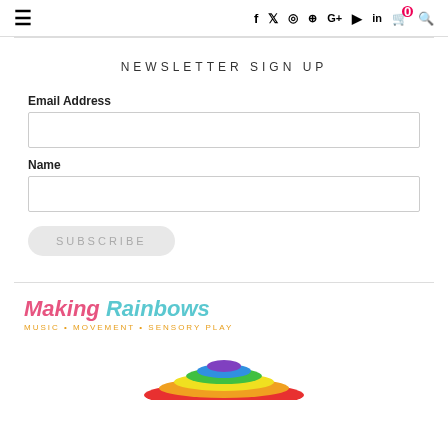≡  f  𝕏  ○  𝕡  G+  ▶  in  🛒⁰  🔍
NEWSLETTER SIGN UP
Email Address
Name
SUBSCRIBE
[Figure (logo): Making Rainbows logo with tagline MUSIC • MOVEMENT • SENSORY PLAY and colorful rainbow toy image below]